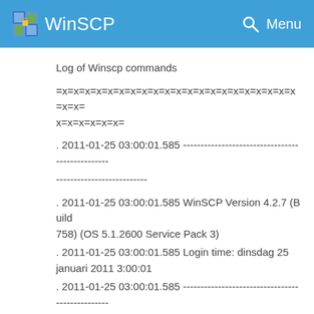WinSCP
Log of Winscp commands
=x=x=x=x=x=x=x=x=x=x=x=x=x=x=x=x=x=x=x=x=x=x=x=
x=x=x=x=x=x=
. 2011-01-25 03:00:01.585 -----------------------------------------------------------------------
. 2011-01-25 03:00:01.585 WinSCP Version 4.2.7 (Build 758) (OS 5.1.2600 Service Pack 3)
. 2011-01-25 03:00:01.585 Login time: dinsdag 25 januari 2011 3:00:01
. 2011-01-25 03:00:01.585 -----------------------------------------------------------------------
. 2011-01-25 03:00:01.585 Session name: yyyyyyy@www.zzzzzz.nl
. 2011-01-25 03:00:01.585 Host name: